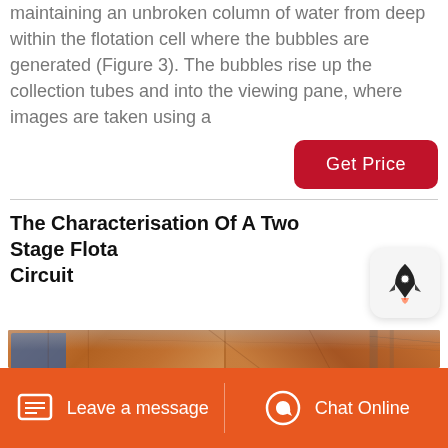maintaining an unbroken column of water from deep within the flotation cell where the bubbles are generated (Figure 3). The bubbles rise up the collection tubes and into the viewing pane, where images are taken using a
[Figure (other): Get Price button - red rounded rectangle button with white text]
The Characterisation Of A Two Stage Flotation Circuit
[Figure (photo): Industrial flotation circuit equipment - orange/rust colored flotation cell machinery photographed outdoors]
Leave a message  Chat Online